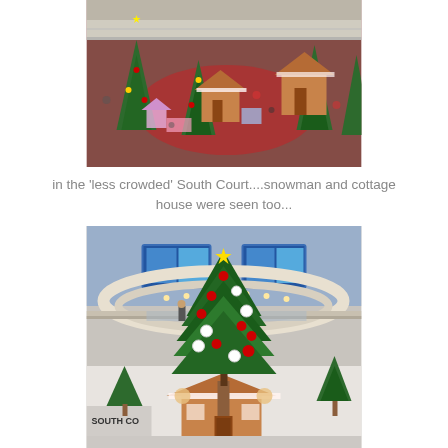[Figure (photo): Overhead view of a shopping mall Christmas display with large gingerbread houses, decorated Christmas trees, and colorful holiday decorations spread across a red-carpeted atrium floor with shoppers visible.]
in the 'less crowded' South Court....snowman and cottage house were seen too...
[Figure (photo): Interior of a multi-story shopping mall atrium showing a tall decorated Christmas tree with red and white ornaments in the center, a gingerbread house at its base, additional smaller trees, large digital display screens on the upper level, and the South Court signage visible at the bottom left.]